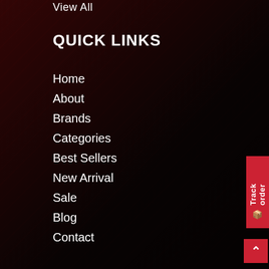View All
QUICK LINKS
Home
About
Brands
Categories
Best Sellers
New Arrival
Sale
Blog
Contact